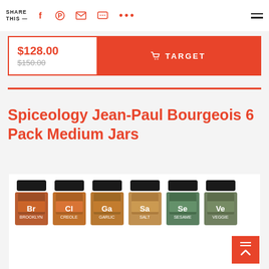SHARE THIS — [social icons: Facebook, Pinterest, Email, Message, More, Menu]
$128.00 $150.00 🛒 TARGET
Spiceology Jean-Paul Bourgeois 6 Pack Medium Jars
[Figure (photo): Six Spiceology spice jars labeled Br, Cl, Ga, Sa, Se, Ve in periodic table style, arranged in a row]